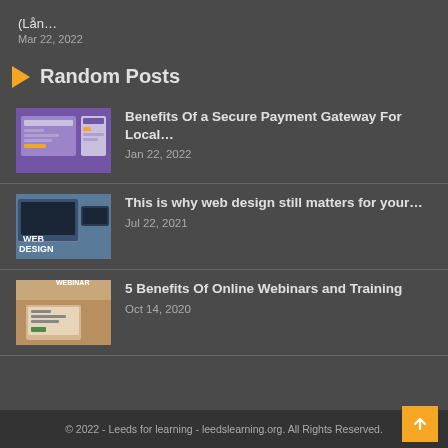(Lån…
Mar 22, 2022
Random Posts
[Figure (photo): Screenshot of a payment gateway interface with purple background]
Benefits Of a Secure Payment Gateway For Local…
Jan 22, 2022
[Figure (photo): Web design promotional image with tablet and phone showing WEB DESIGN text]
This is why web design still matters for your…
Jul 22, 2021
[Figure (photo): Person typing on laptop with webinar concept]
5 Benefits Of Online Webinars and Training
Oct 14, 2020
© 2022 - Leeds for learning - leedslearning.org. All Rights Reserved.